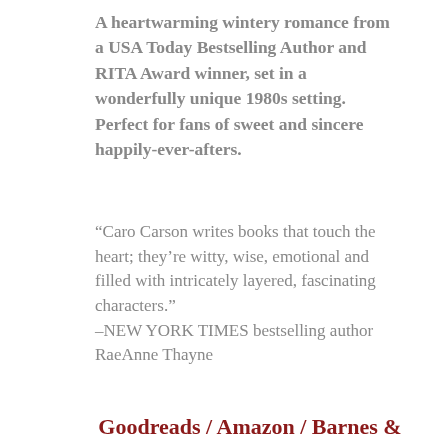A heartwarming wintery romance from a USA Today Bestselling Author and RITA Award winner, set in a wonderfully unique 1980s setting. Perfect for fans of sweet and sincere happily-ever-afters.
“Caro Carson writes books that touch the heart; they’re witty, wise, emotional and filled with intricately layered, fascinating characters.” –NEW YORK TIMES bestselling author RaeAnne Thayne
Goodreads / Amazon / Barnes &